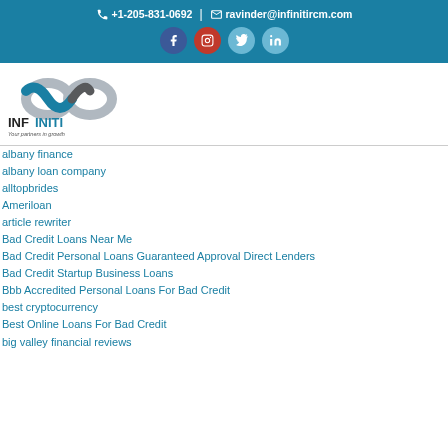+1-205-831-0692 | ravinder@infinitircm.com
[Figure (logo): Infiniti RCM logo with infinity symbol and tagline 'Your partners in growth']
albany finance
albany loan company
alltopbrides
Ameriloan
article rewriter
Bad Credit Loans Near Me
Bad Credit Personal Loans Guaranteed Approval Direct Lenders
Bad Credit Startup Business Loans
Bbb Accredited Personal Loans For Bad Credit
best cryptocurrency
Best Online Loans For Bad Credit
big valley financial reviews